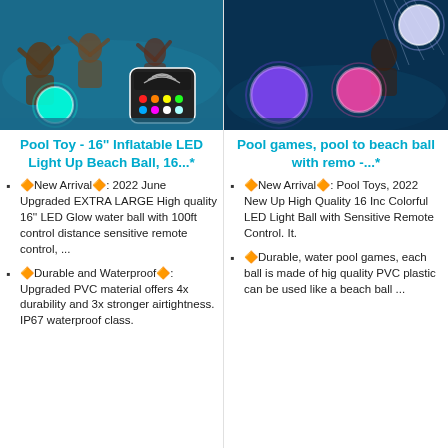[Figure (photo): Pool scene with people playing in water, a glowing teal LED beach ball floating in the pool, and a colorful remote control with multicolored buttons shown in the foreground.]
Pool Toy - 16'' Inflatable LED Light Up Beach Ball, 16...*
🔶New Arrival🔶: 2022 June Upgraded EXTRA LARGE High quality 16'' LED Glow water ball with 100ft control distance sensitive remote control, ...
🔶Durable and Waterproof🔶: Upgraded PVC material offers 4x durability and 3x stronger airtightness. IP67 waterproof class.
[Figure (photo): Pool scene with people in water at night, with glowing colorful LED balls floating — purple, pink, and white balls visible, with light streaks in the background.]
Pool games, pool to beach ball with remo -...*
🔶New Arrival🔶: Pool Toys, 2022 New Up High Quality 16 Inc Colorful LED Light Ball with Sensitive Remote Control. It.
🔶Durable, water pool games, each ball is made of hig quality PVC plastic can be used like a beach ball ...